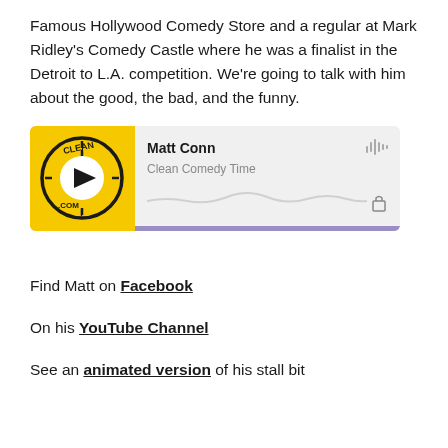Famous Hollywood Comedy Store and a regular at Mark Ridley's Comedy Castle where he was a finalist in the Detroit to L.A. competition. We're going to talk with him about the good, the bad, and the funny.
[Figure (screenshot): Podcast player widget showing 'Matt Conn' episode of 'Clean Comedy Time' podcast with yellow thumbnail featuring a clock logo, play button, waveform, and purple progress bar.]
Find Matt on Facebook
On his YouTube Channel
See an animated version of his stall bit